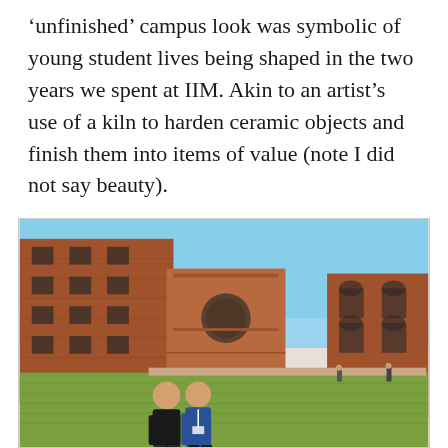‘unfinished’ campus look was symbolic of young student lives being shaped in the two years we spent at IIM. Akin to an artist’s use of a kiln to harden ceramic objects and finish them into items of value (note I did not say beauty).
[Figure (photo): Two men standing on a green lawn in the courtyard of the IIM campus, surrounded by large red brick buildings with circular and arched architectural elements, under a clear blue sky.]